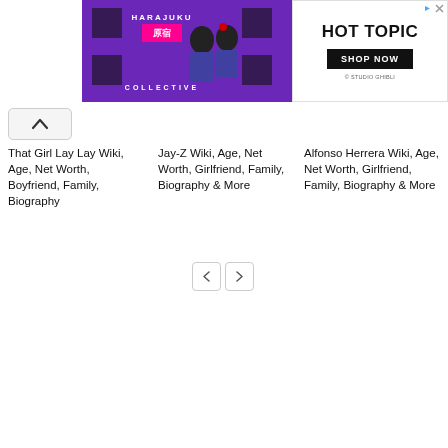[Figure (screenshot): Advertisement banner featuring Harajuku Collective with two costumed figures on purple background on the left, and Hot Topic logo with SHOP NOW button on the right]
[Figure (screenshot): Up arrow navigation button in a rounded rectangle]
That Girl Lay Lay Wiki, Age, Net Worth, Boyfriend, Family, Biography
Jay-Z Wiki, Age, Net Worth, Girlfriend, Family, Biography & More
Alfonso Herrera Wiki, Age, Net Worth, Girlfriend, Family, Biography & More
[Figure (screenshot): Previous and next pagination buttons (< and >)]